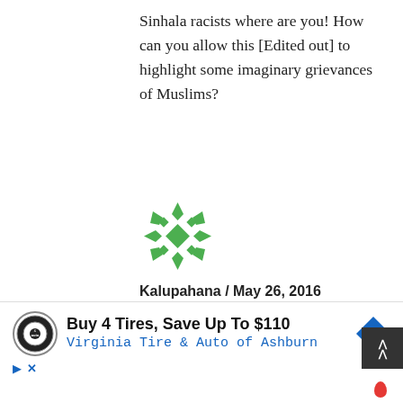Sinhala racists where are you! How can you allow this [Edited out] to highlight some imaginary grievances of Muslims?
[Figure (illustration): Green decorative geometric avatar icon for user Kalupahana]
Kalupahana / May 26, 2016
👍 4  👎 0
The question to ask is Where have all the funds gone?
The United Nations Development Program
[Figure (infographic): Advertisement banner: Buy 4 Tires, Save Up To $110 - Virginia Tire & Auto of Ashburn, with tire logo and blue arrow icon]
[Figure (infographic): Scroll-to-top button (dark grey with double up-arrows)]